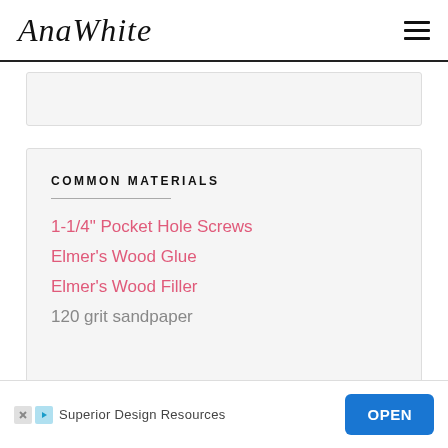AnaWhite
COMMON MATERIALS
1-1/4" Pocket Hole Screws
Elmer's Wood Glue
Elmer's Wood Filler
120 grit sandpaper
Superior Design Resources
OPEN